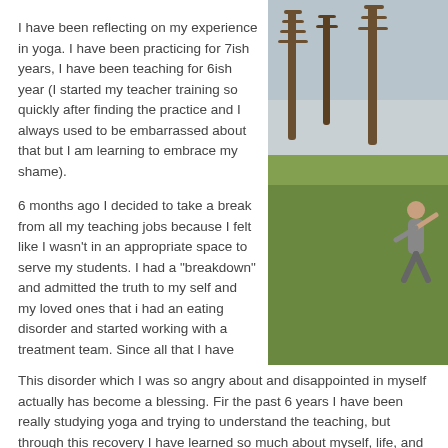I have been reflecting on my experience in yoga. I have been practicing for 7ish years, I have been teaching for 6ish year (I started my teacher training so quickly after finding the practice and I always used to be embarrassed about that but I am learning to embrace my shame).
[Figure (photo): Outdoor photo of a person doing yoga or stretching in a park or grassy area with bare trees in the background and an overcast sky.]
6 months ago I decided to take a break from all my teaching jobs because I felt like I wasn't in an appropriate space to serve my students. I had a "breakdown" and admitted the truth to my self and my loved ones that i had an eating disorder and started working with a treatment team. Since all that I have been really resistant to my blog. I wasn't ready to tell the truth about the situation thinking maybe I would tell "the world" in a few years down recover.
This disorder which I was so angry about and disappointed in myself actually has become a blessing. Fir the past 6 years I have been really studying yoga and trying to understand the teaching, but through this recovery I have learned so much about myself, life, and God. Before I could just barely connect to the teachings of yoga and through this weird invitation I am learning to feel the teachings in my body and heart.